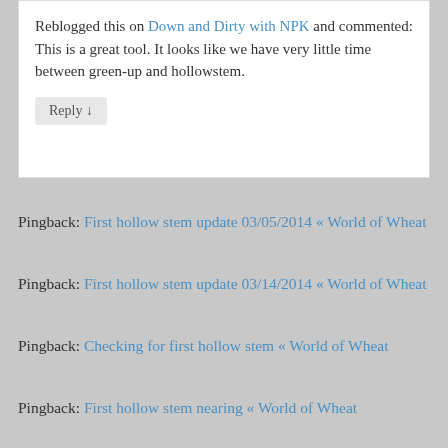Reblogged this on Down and Dirty with NPK and commented:
This is a great tool. It looks like we have very little time between green-up and hollowstem.
Reply ↓
Pingback: First hollow stem update 03/05/2014 « World of Wheat
Pingback: First hollow stem update 03/14/2014 « World of Wheat
Pingback: Checking for first hollow stem « World of Wheat
Pingback: First hollow stem nearing « World of Wheat
Pingback: First hollow stem update 02/16/2016 «